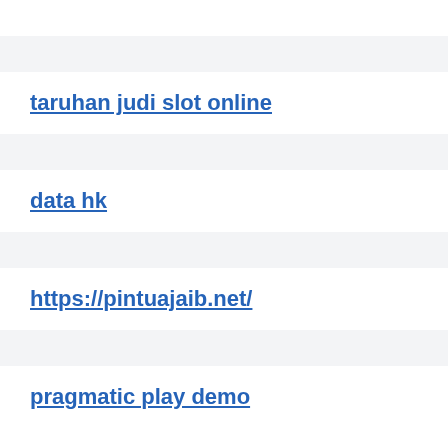taruhan judi slot online
data hk
https://pintuajaib.net/
pragmatic play demo